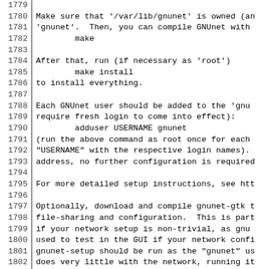Code listing lines 1779-1809 showing GNUnet installation instructions
1780: Make sure that '/var/lib/gnunet' is owned (an
1781: 'gnunet'.  Then, you can compile GNUnet with
1782:         make
1784: After that, run (if necessary as 'root')
1785:         make install
1786: to install everything.
1788: Each GNUnet user should be added to the 'gnu
1789: require fresh login to come into effect):
1790:         adduser USERNAME gnunet
1791: (run the above command as root once for each
1792: "USERNAME" with the respective login names).
1793: address, no further configuration is required
1795: For more detailed setup instructions, see htt
1797: Optionally, download and compile gnunet-gtk t
1798: file-sharing and configuration.  This is part
1799: if your network setup is non-trivial, as gnu
1800: used to test in the GUI if your network confi
1801: gnunet-setup should be run as the "gnunet" us
1802: does very little with the network, running it
1803: also harmless.  You can also run it as a norm
1804: you have to copy ~/.gnunet/gnunet.conf" over
1805: home directory in the end.
1807: Once you have configured your peer, run (as t
1808:         gnunet-arm -s
1809: to start the peer.  You can then run the vari